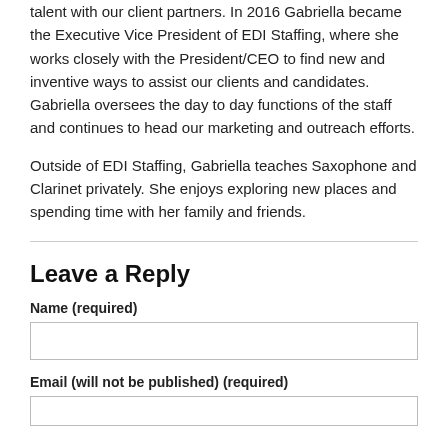talent with our client partners. In 2016 Gabriella became the Executive Vice President of EDI Staffing, where she works closely with the President/CEO to find new and inventive ways to assist our clients and candidates. Gabriella oversees the day to day functions of the staff and continues to head our marketing and outreach efforts.
Outside of EDI Staffing, Gabriella teaches Saxophone and Clarinet privately. She enjoys exploring new places and spending time with her family and friends.
Leave a Reply
Name (required)
Email (will not be published) (required)